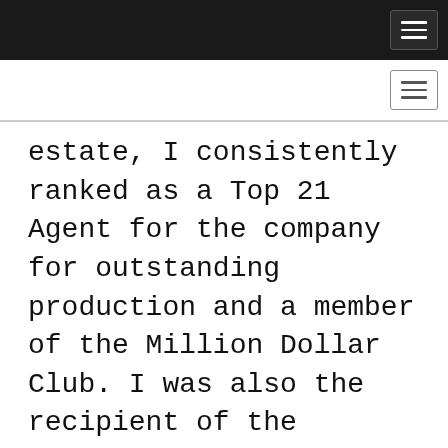Navigation header bar with hamburger menu (dark background)
Navigation sub-header with hamburger menu (light background)
estate, I consistently ranked as a Top 21 Agent for the company for outstanding production and a member of the Million Dollar Club. I was also the recipient of the coveted CENTURY 21 Quality Service Award for exemplary customer satisfaction. What my real reward is the countless